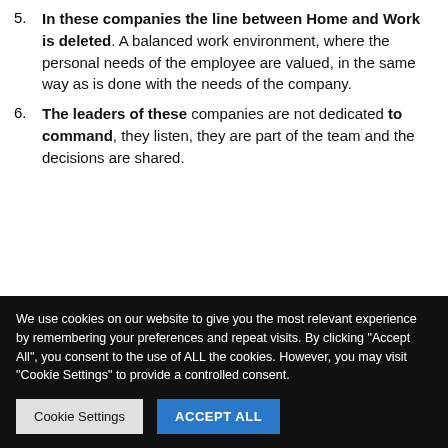5. In these companies the line between Home and Work is deleted. A balanced work environment, where the personal needs of the employee are valued, in the same way as is done with the needs of the company.
6. The leaders of these companies are not dedicated to command, they listen, they are part of the team and the decisions are shared.
We use cookies on our website to give you the most relevant experience by remembering your preferences and repeat visits. By clicking "Accept All", you consent to the use of ALL the cookies. However, you may visit "Cookie Settings" to provide a controlled consent.